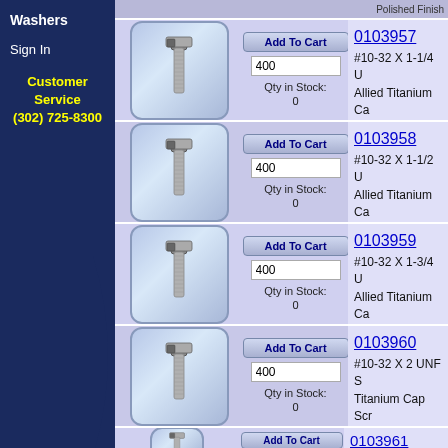Washers
Sign In
Customer Service
(302) 725-8300
| Image | Cart | Product |
| --- | --- | --- |
| [bolt image] | Add To Cart
400
Qty in Stock: 0 | 0103957
#10-32 X 1-1/4 U Allied Titanium Ca Threads, Grade 2 Polished Finish |
| [bolt image] | Add To Cart
400
Qty in Stock: 0 | 0103958
#10-32 X 1-1/2 U Allied Titanium Ca Threads, Grade 2 Polished Finish |
| [bolt image] | Add To Cart
400
Qty in Stock: 0 | 0103959
#10-32 X 1-3/4 U Allied Titanium Ca Threads, Grade 2 Polished Finish |
| [bolt image] | Add To Cart
400
Qty in Stock: 0 | 0103960
#10-32 X 2 UNF S Titanium Cap Scr Grade 2 (CP) Tita Finish |
| [bolt image] | Add To Cart | 0103961 |